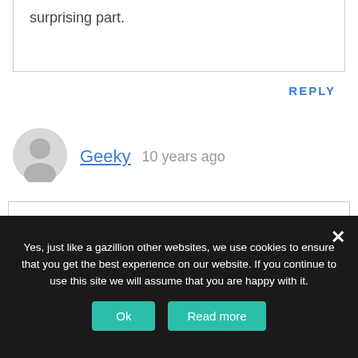surprising part.
REPLY
[Figure (illustration): User avatar: circular gray silhouette icon]
Geeky 10 years ago
Great cartoon!! I would have answered YES to a couple of points on the survey! Smartphones have definately changed our lives in the last couple of years...
Yes, just like a gazillion other websites, we use cookies to ensure that you get the best experience on our website. If you continue to use this site we will assume that you are happy with it.
Ok
Read more